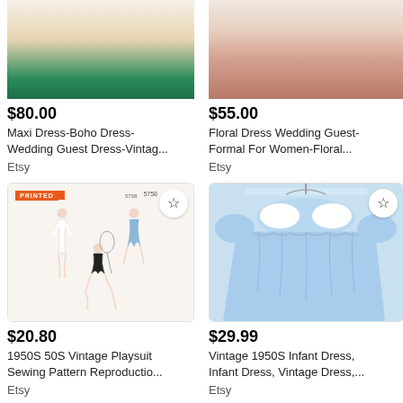[Figure (photo): Top portion of a vintage floral/boho maxi dress with green fabric visible at bottom]
[Figure (photo): Top portion of a floral dress for women, fabric with floral pattern visible]
$80.00
Maxi Dress-Boho Dress-Wedding Guest Dress-Vintag...
Etsy
$55.00
Floral Dress Wedding Guest-Formal For Women-Floral...
Etsy
[Figure (illustration): Vintage sewing pattern illustration showing three women in 1950s playsuits/swimwear - one in white dress, one in blue dress, one in black swimsuit kneeling]
[Figure (photo): Light blue vintage 1950s infant dress with white Peter Pan collar and puff sleeves on a hanger]
$20.80
1950S 50S Vintage Playsuit Sewing Pattern Reproductio...
Etsy
$29.99
Vintage 1950S Infant Dress, Infant Dress, Vintage Dress,...
Etsy